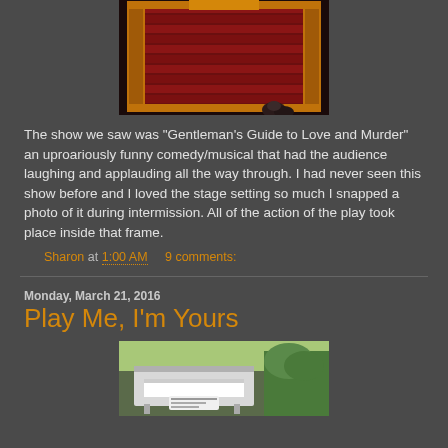[Figure (photo): Theater stage with ornate red curtain and gilded frame, viewed from the audience, photographed during intermission.]
The show we saw was "Gentleman's Guide to Love and Murder" an uproariously funny comedy/musical that had the audience laughing and applauding all the way through.  I had never seen this show before and I loved the stage setting so much I snapped a photo of it during intermission.  All of the action of the play took place inside that frame.
Sharon at 1:00 AM   9 comments:
Monday, March 21, 2016
Play Me, I'm Yours
[Figure (photo): Outdoor street piano installation, white piano visible with greenery in background.]